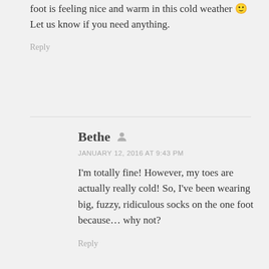foot is feeling nice and warm in this cold weather 🙂 Let us know if you need anything.
Reply
Bethe
JANUARY 12, 2016 AT 9:43 PM
I'm totally fine! However, my toes are actually really cold! So, I've been wearing big, fuzzy, ridiculous socks on the one foot because… why not?
Reply